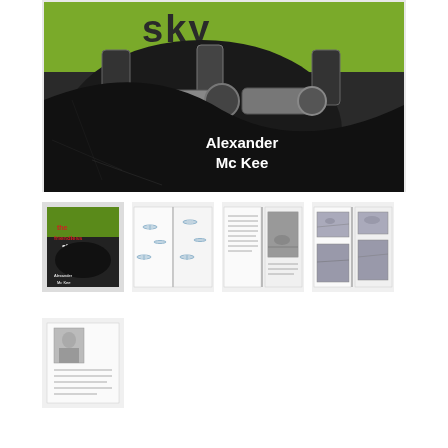[Figure (photo): Main large photo of book cover showing 'The Friendless Sky' by Alexander McKee. Dark book cover with green background and machine gun imagery, author name in white text.]
[Figure (photo): Thumbnail image 1: Small book cover of 'the friendless sky' by Alexander McKee with red and white lettering on dark background.]
[Figure (photo): Thumbnail image 2: Open book spread showing pages with illustrations of aircraft/biplanes.]
[Figure (photo): Thumbnail image 3: Open book spread showing text pages and a black and white photograph.]
[Figure (photo): Thumbnail image 4: Open book spread showing pages with aerial/aircraft photographs.]
[Figure (photo): Thumbnail image 5: Small image showing book interior page with a portrait photo and text.]